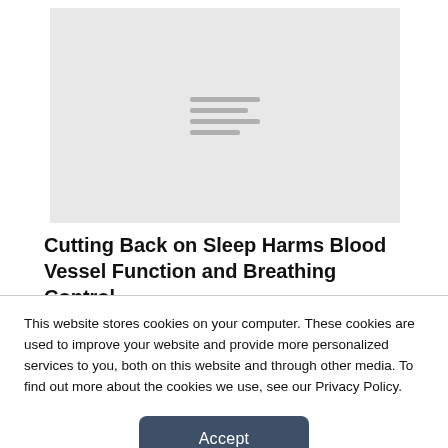[Figure (illustration): Gray placeholder image with centered hamburger menu icon lines, representing an article thumbnail image]
Cutting Back on Sleep Harms Blood Vessel Function and Breathing Control
This website stores cookies on your computer. These cookies are used to improve your website and provide more personalized services to you, both on this website and through other media. To find out more about the cookies we use, see our Privacy Policy.
Accept